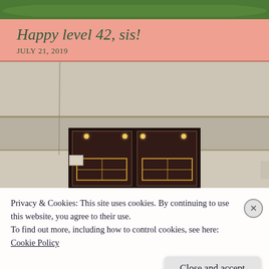[Figure (photo): Top photo strip showing green foliage/leaves against a coral/salmon background]
Happy level 42, sis!
JULY 21, 2019
[Figure (photo): Photograph of a stone building facade with a dark red/maroon door with brass grid window panels and overhead lights]
Privacy & Cookies: This site uses cookies. By continuing to use this website, you agree to their use.
To find out more, including how to control cookies, see here:
Cookie Policy
Close and accept